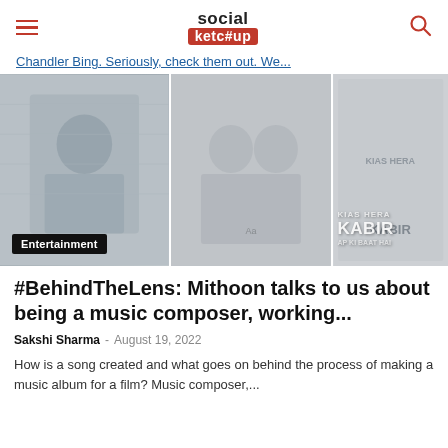social ketc#up
Chandler Bing. Seriously, check them out. We...
[Figure (photo): Collage of three images showing a man in a thoughtful pose, two people together, and a movie poster with text KABIR]
Entertainment
#BehindTheLens: Mithoon talks to us about being a music composer, working...
Sakshi Sharma - August 19, 2022
How is a song created and what goes on behind the process of making a music album for a film? Music composer,...